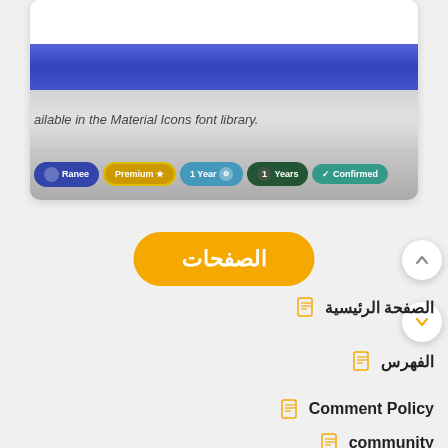[Figure (screenshot): Screenshot of a UI component showing pill/badge elements including Ranee, Premium (star icon), 1 Year, Years, and Confirmed labels on a gradient gray background, above a blue header bar and white card lines]
ailable in the Material Icons font library.
[Figure (screenshot): Yellow/orange rounded button with Arabic text الصفحات (Pages)]
الصفحات
الصفحة الرئيسية
الفهرس
Comment Policy
community